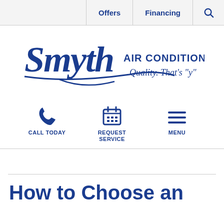Offers | Financing | [Search]
[Figure (logo): Smyth Air Conditioning Inc. logo with cursive 'Smyth' and tagline 'Quality. That's y']
[Figure (infographic): Three action icons: phone (Call Today), calendar (Request Service), hamburger menu (Menu)]
How to Choose an